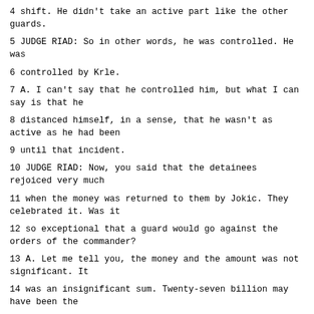4 shift. He didn't take an active part like the other guards.
5 JUDGE RIAD: So in other words, he was controlled. He was
6 controlled by Krle.
7 A. I can't say that he controlled him, but what I can say is that he
8 distanced himself, in a sense, that he wasn't as active as he had been
9 until that incident.
10 JUDGE RIAD: Now, you said that the detainees rejoiced very much
11 when the money was returned to them by Jokic. They celebrated it. Was it
12 so exceptional that a guard would go against the orders of the commander?
13 A. Let me tell you, the money and the amount was not significant. It
14 was an insignificant sum. Twenty-seven billion may have been the
15 equivalent of 100 or 200 German marks, and these